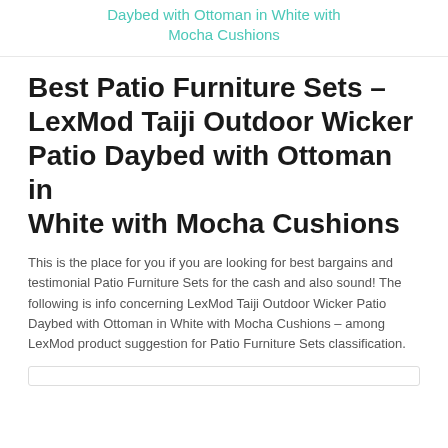Daybed with Ottoman in White with Mocha Cushions
Best Patio Furniture Sets – LexMod Taiji Outdoor Wicker Patio Daybed with Ottoman in White with Mocha Cushions
This is the place for you if you are looking for best bargains and testimonial Patio Furniture Sets for the cash and also sound! The following is info concerning LexMod Taiji Outdoor Wicker Patio Daybed with Ottoman in White with Mocha Cushions – among LexMod product suggestion for Patio Furniture Sets classification.